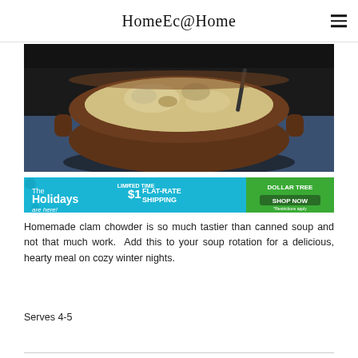HomeEc@Home
[Figure (photo): A brown ceramic bowl filled with creamy clam chowder soup with visible chunks of clam and potato, with a dark spoon, resting on a blue surface with a dark background.]
[Figure (photo): Dollar Tree advertisement banner: 'The Holidays are here! $1* LIMITED TIME FLAT-RATE SHIPPING — DOLLAR TREE SHOP NOW *Restrictions apply']
Homemade clam chowder is so much tastier than canned soup and not that much work.  Add this to your soup rotation for a delicious, hearty meal on cozy winter nights.
Serves 4-5